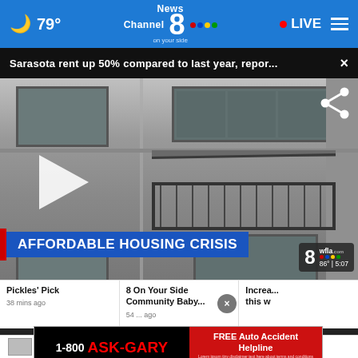🌙 79° | News Channel 8 on your side | NBC | LIVE
Sarasota rent up 50% compared to last year, repor... ×
[Figure (screenshot): Video still of apartment building exterior with balcony, showing lower-third graphic 'AFFORDABLE HOUSING CRISIS' and WFLA station bug showing 86°|5:07. A play button triangle is visible at left center, and a share icon at top right.]
Pickles' Pick
8 On Your Side Community Baby....
Increa... this w
38 mins ago
54 ... ago
[Figure (infographic): 1-800 ASK-GARY advertisement banner with black background on left showing phone number and red text, red background on right with text 'FREE Auto Accident Helpline']
More videos ›